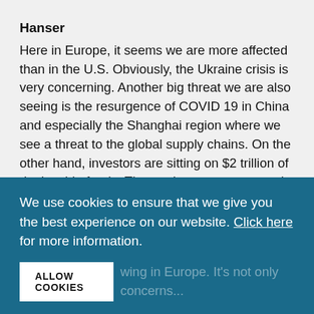Hanser
Here in Europe, it seems we are more affected than in the U.S. Obviously, the Ukraine crisis is very concerning. Another big threat we are also seeing is the resurgence of COVID 19 in China and especially the Shanghai region where we see a threat to the global supply chains. On the other hand, investors are sitting on $2 trillion of deployable funds. The markets are strong and there are acquisition opportunities, but psychologically, people see war and other concerns that cause them to hesitate. Sectors like automotive manufacturing and industrial IOT and industry 4.0, where we previously had many buyers now prefer to
We use cookies to ensure that we give you the best experience on our website. Click here for more information.
ALLOW COOKIES
wing in Europe. It's not only concerns...